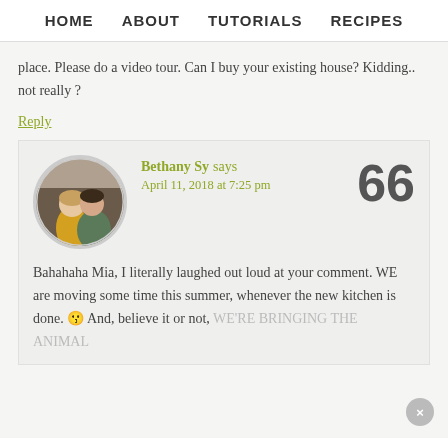HOME   ABOUT   TUTORIALS   RECIPES
place. Please do a video tour. Can I buy your existing house? Kidding.. not really ?
Reply
Bethany Sy says April 11, 2018 at 7:25 pm  66
[Figure (photo): Circular avatar photo of a couple, woman in yellow top and man in plaid shirt]
Bahahaha Mia, I literally laughed out loud at your comment. WE are moving some time this summer, whenever the new kitchen is done. And, believe it or not, WE'RE BRINGING THE ANIMAL